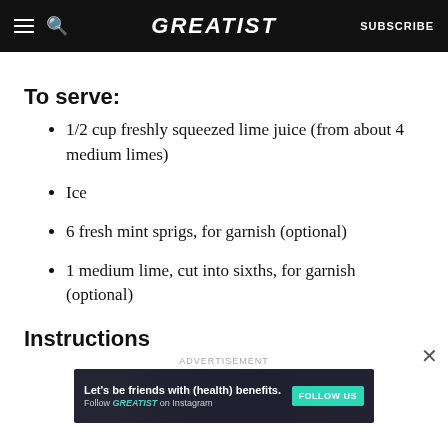GREATIST | SUBSCRIBE
To serve:
1/2 cup freshly squeezed lime juice (from about 4 medium limes)
Ice
6 fresh mint sprigs, for garnish (optional)
1 medium lime, cut into sixths, for garnish (optional)
Instructions
[Figure (other): Advertisement banner: Let's be friends with (health) benefits. Follow GREATIST on Instagram. FOLLOW US button.]